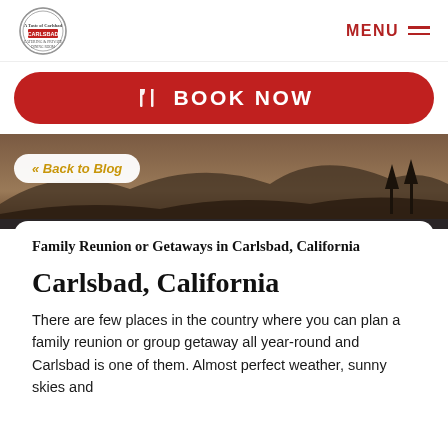A Taste of Carlsbad logo | MENU
BOOK NOW
[Figure (screenshot): Hero image of Carlsbad California coastline at dusk with mountains in background]
« Back to Blog
Family Reunion or Getaways in Carlsbad, California
Carlsbad, California
There are few places in the country where you can plan a family reunion or group getaway all year-round and Carlsbad is one of them. Almost perfect weather, sunny skies and